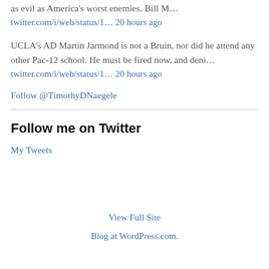as evil as America's worst enemies. Bill M…
twitter.com/i/web/status/1… 20 hours ago
UCLA's AD Martin Jarmond is not a Bruin, nor did he attend any other Pac-12 school. He must be fired now, and deni…
twitter.com/i/web/status/1… 20 hours ago
Follow @TimothyDNaegele
Follow me on Twitter
My Tweets
View Full Site
Blog at WordPress.com.